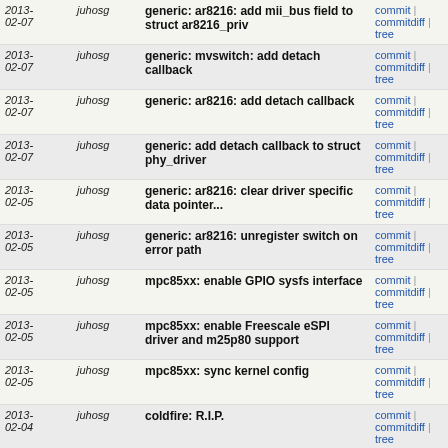| Date | Author | Message | Links |
| --- | --- | --- | --- |
| 2013-02-07 | juhosg | generic: ar8216: add mii_bus field to struct ar8216_priv | commit | commitdiff | tree |
| 2013-02-07 | juhosg | generic: mvswitch: add detach callback | commit | commitdiff | tree |
| 2013-02-07 | juhosg | generic: ar8216: add detach callback | commit | commitdiff | tree |
| 2013-02-07 | juhosg | generic: add detach callback to struct phy_driver | commit | commitdiff | tree |
| 2013-02-05 | juhosg | generic: ar8216: clear driver specific data pointer... | commit | commitdiff | tree |
| 2013-02-05 | juhosg | generic: ar8216: unregister switch on error path | commit | commitdiff | tree |
| 2013-02-05 | juhosg | mpc85xx: enable GPIO sysfs interface | commit | commitdiff | tree |
| 2013-02-05 | juhosg | mpc85xx: enable Freescale eSPI driver and m25p80 support | commit | commitdiff | tree |
| 2013-02-05 | juhosg | mpc85xx: sync kernel config | commit | commitdiff | tree |
| 2013-02-04 | juhosg | coldfire: R.I.P. | commit | commitdiff | tree |
| 2013-02-04 | juhosg | leon: R.I.P. | commit | commitdiff | tree |
| 2013-02-04 | juhosg | imx21: R.I.P. | commit | commitdiff | tree |
| 2013-02-04 | juhosg | octeon: R.I.P. | commit | commitdiff | tree |